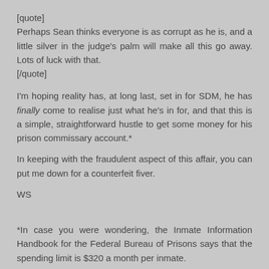[quote]
Perhaps Sean thinks everyone is as corrupt as he is, and a little silver in the judge's palm will make all this go away. Lots of luck with that.
[/quote]
I'm hoping reality has, at long last, set in for SDM, he has finally come to realise just what he's in for, and that this is a simple, straightforward hustle to get some money for his prison commissary account.*
In keeping with the fraudulent aspect of this affair, you can put me down for a counterfeit fiver.
WS
*In case you were wondering, the Inmate Information Handbook for the Federal Bureau of Prisons says that the spending limit is $320 a month per inmate.
Reply